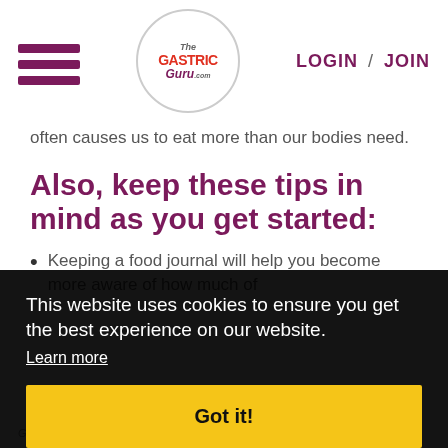LOGIN / JOIN | The Gastric Guru
often causes us to eat more than our bodies need.
Also, keep these tips in mind as you get started:
Keeping a food journal will help you become more aware of how much of
This website uses cookies to ensure you get the best experience on our website. Learn more
Got it!
Guidelines vary for individual patient needs and surgeries.